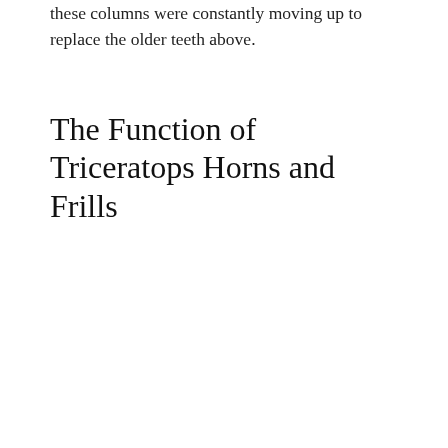these columns were constantly moving up to replace the older teeth above.
The Function of Triceratops Horns and Frills